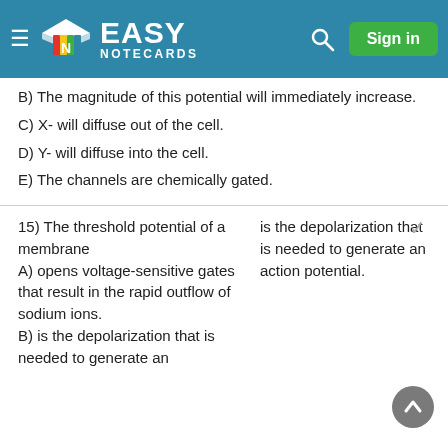Easy Notecards
B) The magnitude of this potential will immediately increase.
C) X- will diffuse out of the cell.
D) Y- will diffuse into the cell.
E) The channels are chemically gated.
15) The threshold potential of a membrane
A) opens voltage-sensitive gates that result in the rapid outflow of sodium ions.
B) is the depolarization that is needed to generate an
is the depolarization that is needed to generate an action potential.